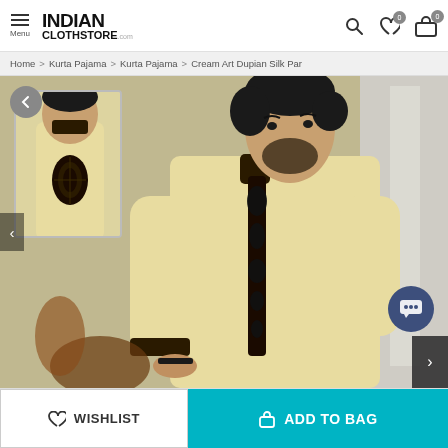INDIAN CLOTHSTORE.COM — Menu, Search, Wishlist (0), Bag (0)
Home > Kurta Pajama > Kurta Pajama > Cream Art Dupian Silk Par
[Figure (photo): A man wearing a cream/gold Art Dupian Silk Kurta Pajama with heavy dark embroidery on the neckline and cuffs. A smaller thumbnail shows the back of the garment with embroidery detail.]
WISHLIST
ADD TO BAG